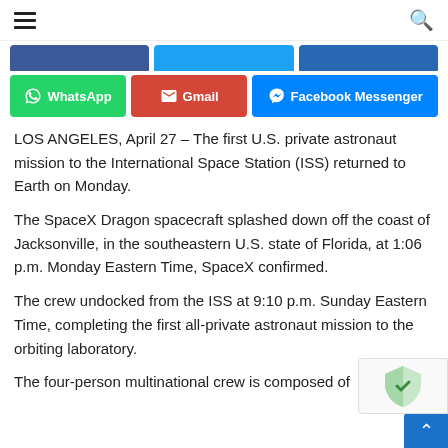≡  🔍
[Figure (other): Social share buttons row 1: Facebook, Twitter, LinkedIn (partially visible at top)]
[Figure (other): Social share buttons row 2: WhatsApp, Gmail, Facebook Messenger]
LOS ANGELES, April 27  – The first U.S. private astronaut mission to the International Space Station (ISS) returned to Earth on Monday.
The SpaceX Dragon spacecraft splashed down off the coast of Jacksonville, in the southeastern U.S. state of Florida, at 1:06 p.m. Monday Eastern Time, SpaceX confirmed.
The crew undocked from the ISS at 9:10 p.m. Sunday Eastern Time, completing the first all-private astronaut mission to the orbiting laboratory.
The four-person multinational crew is composed of Commander…